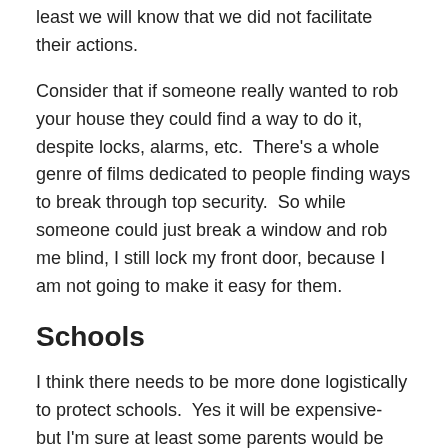least we will know that we did not facilitate their actions.
Consider that if someone really wanted to rob your house they could find a way to do it, despite locks, alarms, etc.  There's a whole genre of films dedicated to people finding ways to break through top security.  So while someone could just break a window and rob me blind, I still lock my front door, because I am not going to make it easy for them.
Schools
I think there needs to be more done logistically to protect schools.  Yes it will be expensive- but I'm sure at least some parents would be more than happy to donate